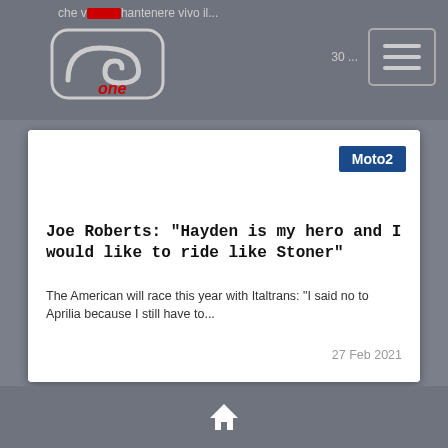che v... hantenere vivo il...
[Figure (logo): GPone logo - GP lettering in rounded rectangle with 'one' in red italic script below]
30 ...21
[Figure (other): Hamburger menu button icon]
[Figure (other): Moto2 category badge - white text on dark blue background]
[Figure (photo): Large image area (white/blank)]
Joe Roberts: "Hayden is my hero and I would like to ride like Stoner"
The American will race this year with Italtrans: "I said no to Aprilia because I still have to...
27 Feb 2021
Home icon